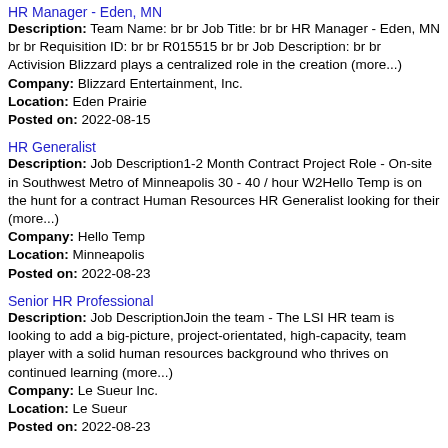HR Manager - Eden, MN
Description: Team Name: br br Job Title: br br HR Manager - Eden, MN br br Requisition ID: br br R015515 br br Job Description: br br Activision Blizzard plays a centralized role in the creation (more...)
Company: Blizzard Entertainment, Inc.
Location: Eden Prairie
Posted on: 2022-08-15
HR Generalist
Description: Job Description1-2 Month Contract Project Role - On-site in Southwest Metro of Minneapolis 30 - 40 / hour W2Hello Temp is on the hunt for a contract Human Resources HR Generalist looking for their (more...)
Company: Hello Temp
Location: Minneapolis
Posted on: 2022-08-23
Senior HR Professional
Description: Job DescriptionJoin the team - The LSI HR team is looking to add a big-picture, project-orientated, high-capacity, team player with a solid human resources background who thrives on continued learning (more...)
Company: Le Sueur Inc.
Location: Le Sueur
Posted on: 2022-08-23
HR Manager